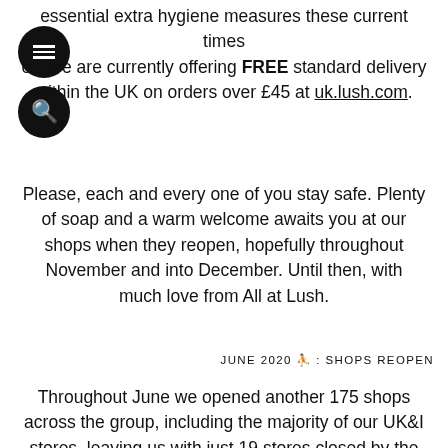essential extra hygiene measures these current times. We are currently offering FREE standard delivery within the UK on orders over £45 at uk.lush.com.
Please, each and every one of you stay safe. Plenty of soap and a warm welcome awaits you at our shops when they reopen, hopefully throughout November and into December. Until then, with much love from All at Lush.
JUNE 2020 🏠 : SHOPS REOPEN
Throughout June we opened another 175 shops across the group, including the majority of our UK&I stores, leaving us with just 19 stores closed by the end of the month.